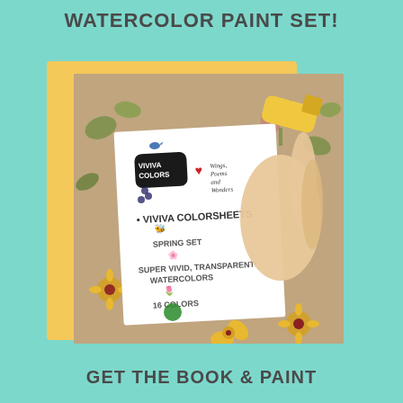WATERCOLOR PAINT SET!
[Figure (photo): Hand holding a Viviva Colorsheets Spring Set watercolor paint booklet with floral and nature decorations. Behind it is a yellow card and a floral fabric/wrapping paper background. The booklet shows 'VIVIVA COLORS' logo, 'VIVIVA COLORSHEETS', 'SPRING SET', 'SUPER VIVID, TRANSPARENT WATERCOLORS', '16 COLORS'.]
*******
GET THE BOOK & PAINT